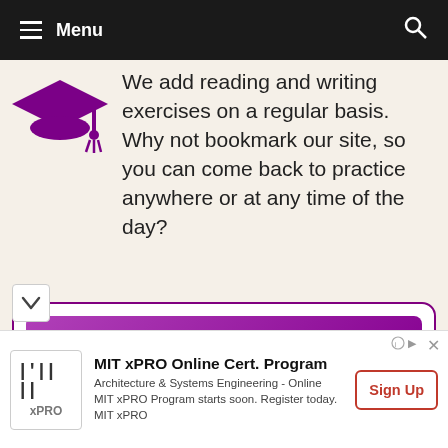Menu
We add reading and writing exercises on a regular basis. Why not bookmark our site, so you can come back to practice anywhere or at any time of the day?
Use of English Part 1
MIT xPRO Online Cert. Program Architecture & Systems Engineering - Online MIT xPRO Program starts soon. Register today. MIT xPRO Sign Up